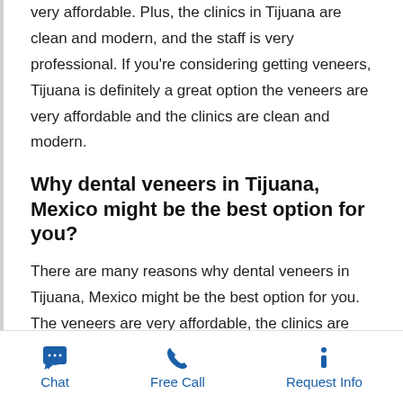very affordable. Plus, the clinics in Tijuana are clean and modern, and the staff is very professional. If you're considering getting veneers, Tijuana is definitely a great option the veneers are very affordable and the clinics are clean and modern.
Why dental veneers in Tijuana, Mexico might be the best option for you?
There are many reasons why dental veneers in Tijuana, Mexico might be the best option for you. The veneers are very affordable, the clinics are clean and modern, and the staff is very professional. Plus, Tijuana is a popular dental tourism destination, so you can be sure to find a clinic that meets your needs. If you're considering getting veneers, Tijuana is definitely worth considering.
Chat | Free Call | Request Info